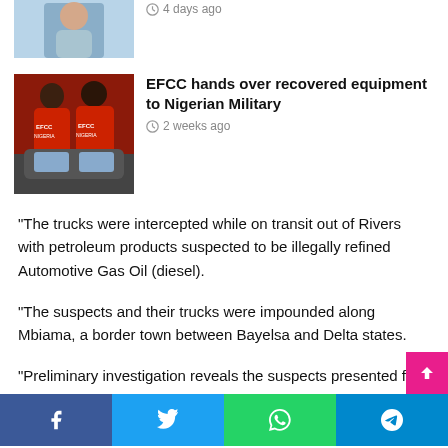[Figure (photo): Partial top image of a person in blue clothing]
4 days ago
[Figure (photo): Two people wearing red EFCC NIGERIA jackets]
EFCC hands over recovered equipment to Nigerian Military
2 weeks ago
“The trucks were intercepted while on transit out of Rivers with petroleum products suspected to be illegally refined Automotive Gas Oil (diesel).
“The suspects and their trucks were impounded along Mbiama, a border town between Bayelsa and Delta states.
“Preliminary investigation reveals the suspects presented fa… documents that enabled them to beat several security